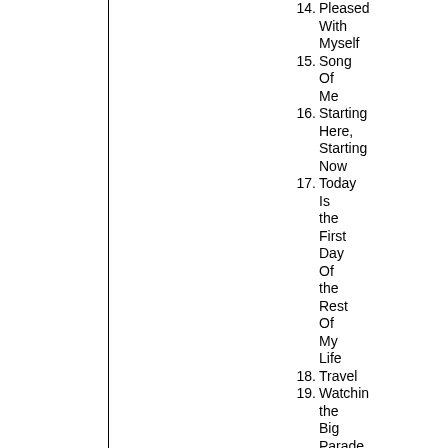14. Pleased With Myself
15. Song Of Me
16. Starting Here, Starting Now
17. Today Is the First Day Of the Rest Of My Life
18. Travel
19. Watching the Big Parade Go By
20. We Can Talk To Each Other